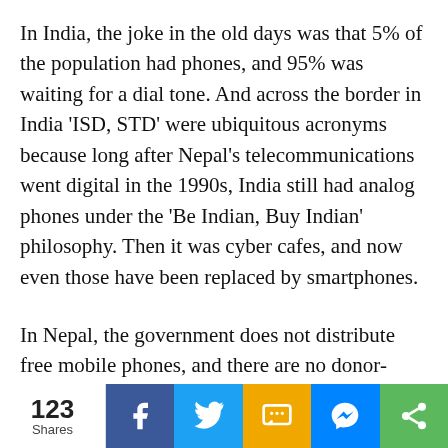In India, the joke in the old days was that 5% of the population had phones, and 95% was waiting for a dial tone. And across the border in India 'ISD, STD' were ubiquitous acronyms because long after Nepal's telecommunications went digital in the 1990s, India still had analog phones under the 'Be Indian, Buy Indian' philosophy. Then it was cyber cafes, and now even those have been replaced by smartphones.
In Nepal, the government does not distribute free mobile phones, and there are no donor-funded projects subsidising these devices. Yet everyone, rich or poor, has a phone. On the other hand, the government with donor support has been building toilets and providing free material and training. Yet, many people are...
123 Shares | Facebook | Twitter | SMS | Messenger | Share